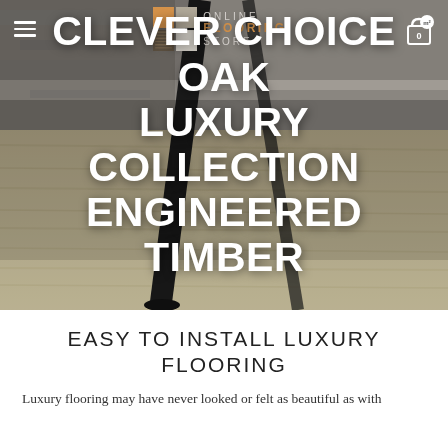[Figure (photo): Hero photo of oak engineered timber floor with black metal furniture legs visible, showing natural wood grain texture in light grey-beige tones. The image serves as background for the product page header.]
Online Flooring Store — navigation header with hamburger menu icon, logo, and shopping cart with 0 items
CLEVER CHOICE OAK LUXURY COLLECTION ENGINEERED TIMBER
EASY TO INSTALL LUXURY FLOORING
Luxury flooring may have never looked or felt as beautiful as with